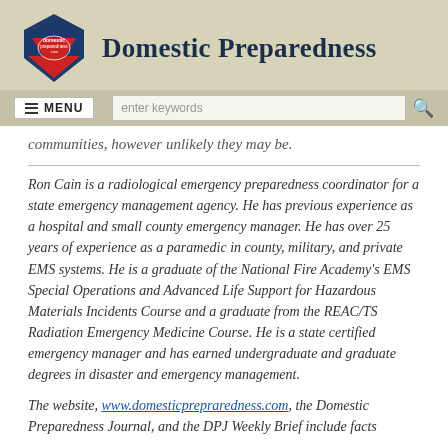Domestic Preparedness
communities, however unlikely they may be.
Ron Cain is a radiological emergency preparedness coordinator for a state emergency management agency. He has previous experience as a hospital and small county emergency manager. He has over 25 years of experience as a paramedic in county, military, and private EMS systems. He is a graduate of the National Fire Academy's EMS Special Operations and Advanced Life Support for Hazardous Materials Incidents Course and a graduate from the REAC/TS Radiation Emergency Medicine Course. He is a state certified emergency manager and has earned undergraduate and graduate degrees in disaster and emergency management.
The website, www.domesticprepraredness.com, the Domestic Preparedness Journal, and the DPJ Weekly Brief include facts